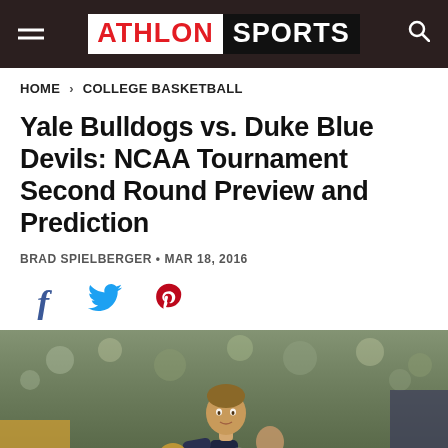ATHLON SPORTS
HOME > COLLEGE BASKETBALL
Yale Bulldogs vs. Duke Blue Devils: NCAA Tournament Second Round Preview and Prediction
BRAD SPIELBERGER • MAR 18, 2016
[Figure (other): Social share icons: Facebook, Twitter, Pinterest]
[Figure (photo): Basketball player in dark uniform with NCAA badge dribbling on court, crowd in background]